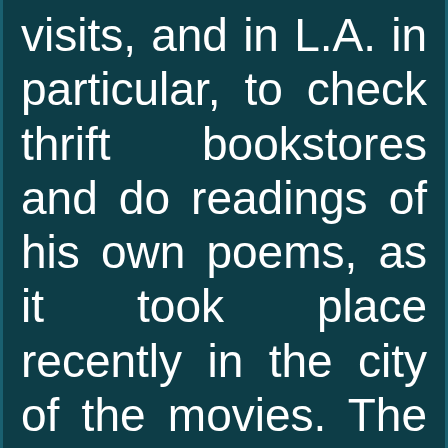visits, and in L.A. in particular, to check thrift bookstores and do readings of his own poems, as it took place recently in the city of the movies. The star of Lord of the Rings not only did buy books